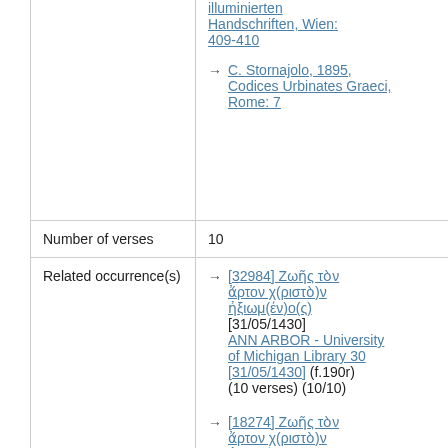|  | illuminierten Handschriften, Wien: 409-410
C. Stornajolo, 1895, Codices Urbinates Graeci, Rome: 7 |
| Number of verses | 10 |
| Related occurrence(s) | [32984] Ζωῆς τὸν ἄρτον χ(ριστὸ)ν ἠξιωμ(έν)ο(ς) [31/05/1430] ANN ARBOR - University of Michigan Library 30 [31/05/1430] (f.190r) (10 verses) (10/10)
[18274] Ζωῆς τὸν ἄρτον χ(ριστὸ)ν ἠξιωμένος [1292] |